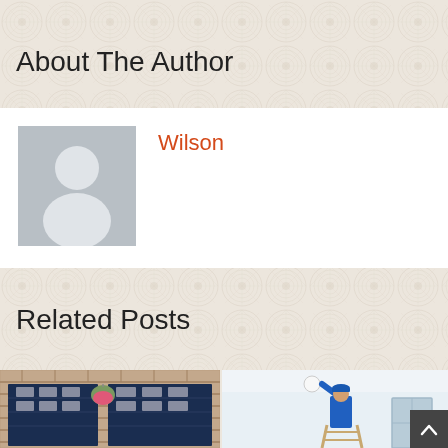About The Author
[Figure (illustration): Generic user avatar placeholder: grey square with white silhouette of a person (head and shoulders)]
Wilson
Related Posts
[Figure (photo): Photo of a brick house with two navy blue garage doors and hanging flower baskets]
[Figure (photo): Photo of a technician in a blue shirt and cap on a ladder adjusting a smoke detector on a white ceiling]